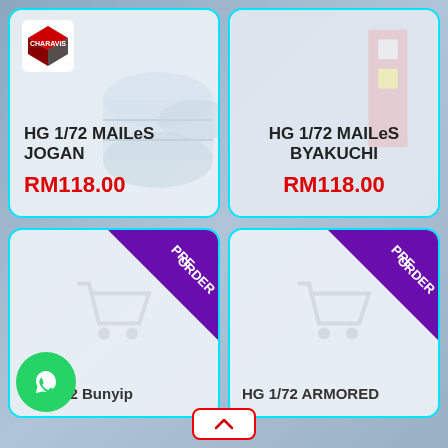[Figure (logo): Red and black cube/box logo icon for the store]
HG 1/72 MAILeS JOGAN
RM118.00
HG 1/72 MAILeS BYAKUCHI
RM118.00
[Figure (illustration): PRE ORDER badge on top-right corner of product card, with shopping cart placeholder icon. Product: HG 1/72 Bunyip]
[Figure (illustration): PRE ORDER badge on top-right corner of product card, with shopping cart placeholder icon. Product: HG 1/72 ARMORED]
HG 1/72 Bunyip
HG 1/72 ARMORED
[Figure (logo): WhatsApp green circular button with phone/chat icon]